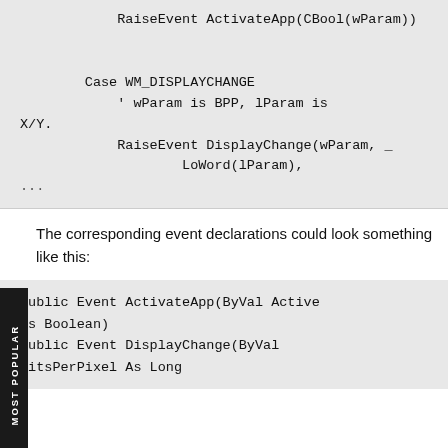RaiseEvent ActivateApp(CBool(wParam))

        Case WM_DISPLAYCHANGE
            ' wParam is BPP, lParam is X/Y.
            RaiseEvent DisplayChange(wParam, _
                    LoWord(lParam),
...
The corresponding event declarations could look something like this:
Public Event ActivateApp(ByVal Active As Boolean)
Public Event DisplayChange(ByVal BitsPerPixel As Long...